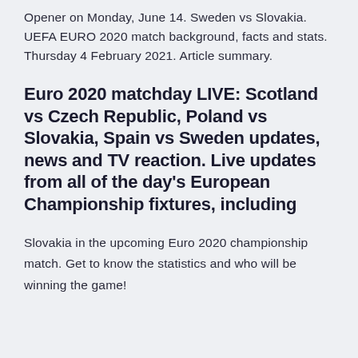Opener on Monday, June 14. Sweden vs Slovakia. UEFA EURO 2020 match background, facts and stats. Thursday 4 February 2021. Article summary.
Euro 2020 matchday LIVE: Scotland vs Czech Republic, Poland vs Slovakia, Spain vs Sweden updates, news and TV reaction. Live updates from all of the day's European Championship fixtures, including
Slovakia in the upcoming Euro 2020 championship match. Get to know the statistics and who will be winning the game!